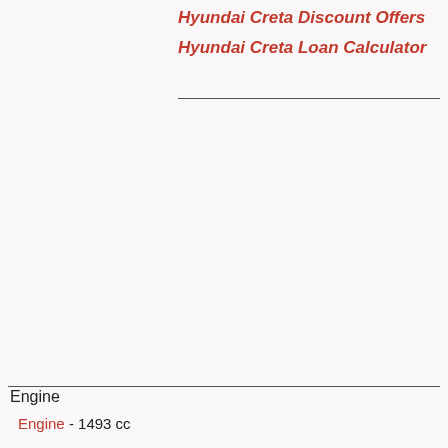Hyundai Creta Discount Offers
Hyundai Creta Loan Calculator
Engine
Engine - 1493 cc